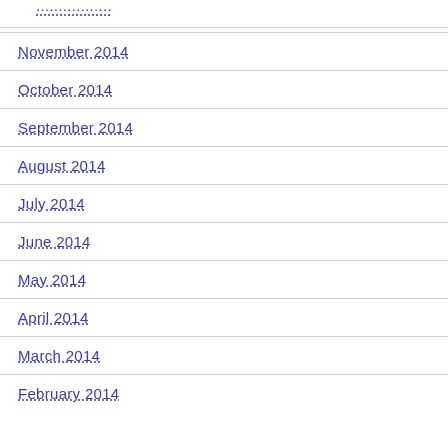November 2014
October 2014
September 2014
August 2014
July 2014
June 2014
May 2014
April 2014
March 2014
February 2014